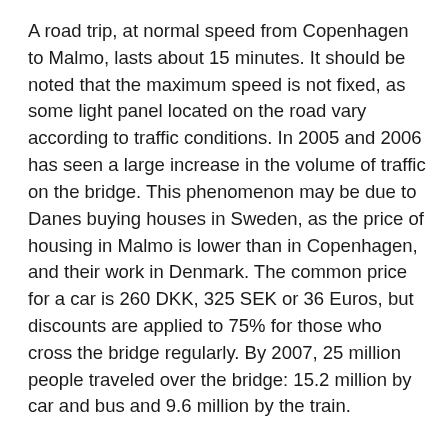A road trip, at normal speed from Copenhagen to Malmo, lasts about 15 minutes. It should be noted that the maximum speed is not fixed, as some light panel located on the road vary according to traffic conditions. In 2005 and 2006 has seen a large increase in the volume of traffic on the bridge. This phenomenon may be due to Danes buying houses in Sweden, as the price of housing in Malmo is lower than in Copenhagen, and their work in Denmark. The common price for a car is 260 DKK, 325 SEK or 36 Euros, but discounts are applied to 75% for those who cross the bridge regularly. By 2007, 25 million people traveled over the bridge: 15.2 million by car and bus and 9.6 million by the train.